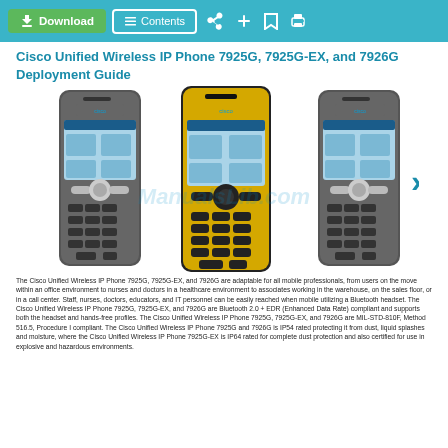Download | Contents
Cisco Unified Wireless IP Phone 7925G, 7925G-EX, and 7926G Deployment Guide
[Figure (photo): Three Cisco wireless IP phones side by side: a gray 7925G on the left, a yellow 7925G-EX in the center, and a gray 7926G on the right, all showing color screens with app icons and full keypads.]
The Cisco Unified Wireless IP Phone 7925G, 7925G-EX, and 7926G are adaptable for all mobile professionals, from users on the move within an office environment to nurses and doctors in a healthcare environment to associates working in the warehouse, on the sales floor, or in a call center. Staff, nurses, doctors, educators, and IT personnel can be easily reached when mobile utilizing a Bluetooth headset. The Cisco Unified Wireless IP Phone 7925G, 7925G-EX, and 7926G are Bluetooth 2.0 + EDR (Enhanced Data Rate) compliant and supports both the headset and hands-free profiles. The Cisco Unified Wireless IP Phone 7925G, 7925G-EX, and 7926G are MIL-STD-810F, Method 516.5, Procedure I compliant. The Cisco Unified Wireless IP Phone 7925G and 7926G is IP54 rated protecting it from dust, liquid splashes and moisture, where the Cisco Unified Wireless IP Phone 7925G-EX is IP64 rated for complete dust protection and also certified for use in explosive and hazardous environments.